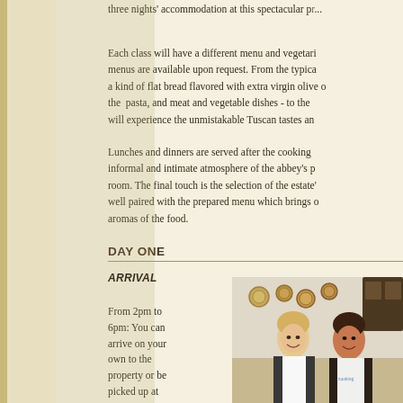three nights' accommodation at this spectacular p[roperty]...
Each class will have a different menu and vegetari[an] menus are available upon request. From the typica[l] a kind of flat bread flavored with extra virgin olive o[il] the pasta, and meat and vegetable dishes - to the [guests] will experience the unmistakable Tuscan tastes an[d aromas].
Lunches and dinners are served after the cooking [class] informal and intimate atmosphere of the abbey's p[rivate dining] room. The final touch is the selection of the estate'[s wines] well paired with the prepared menu which brings o[ut the] aromas of the food.
DAY ONE
ARRIVAL
From 2pm to 6pm: You can arrive on your own to the property or be picked up at the Florence
[Figure (photo): Two women wearing white aprons smiling in what appears to be a kitchen or cooking class setting, with decorative plates on the wall behind them.]